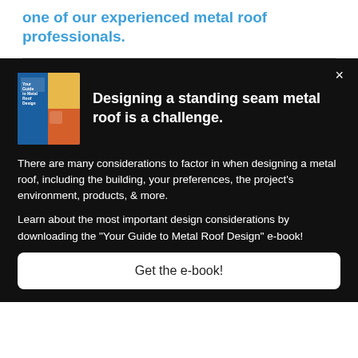one of our experienced metal roof professionals.
Designing a standing seam metal roof is a challenge.
There are many considerations to factor in when designing a metal roof, including the building, your preferences, the project's environment, products, & more.

Learn about the most important design considerations by downloading the "Your Guide to Metal Roof Design" e-book!
Get the e-book!